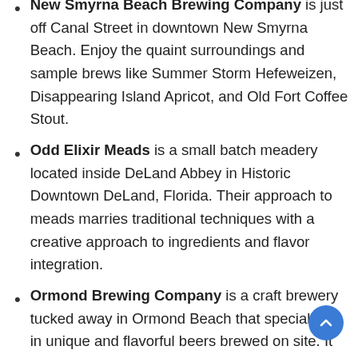New Smyrna Beach Brewing Company is just off Canal Street in downtown New Smyrna Beach. Enjoy the quaint surroundings and sample brews like Summer Storm Hefeweizen, Disappearing Island Apricot, and Old Fort Coffee Stout.
Odd Elixir Meads is a small batch meadery located inside DeLand Abbey in Historic Downtown DeLand, Florida. Their approach to meads marries traditional techniques with a creative approach to ingredients and flavor integration.
Ormond Brewing Company is a craft brewery tucked away in Ormond Beach that specializes in unique and flavorful beers brewed on site. It has